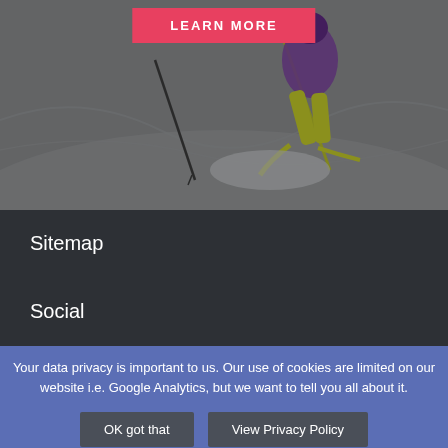[Figure (photo): A skier in a purple jacket and yellow-green ski pants carving down a snowy slope, holding ski poles, with a gray overlay on the image.]
LEARN MORE
Sitemap
Social
Your data privacy is important to us. Our use of cookies are limited on our website i.e. Google Analytics, but we want to tell you all about it.
OK got that
View Privacy Policy